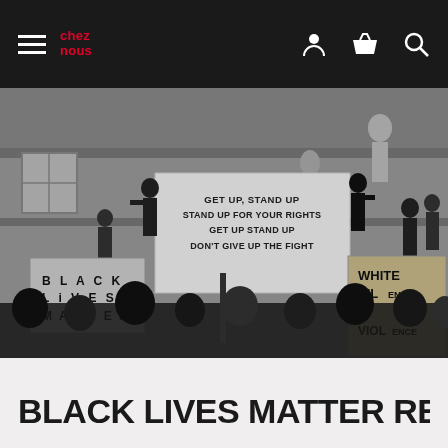chez nous
[Figure (photo): Black and white photograph of a protest/demonstration. People are gathered, some holding signs reading 'BLACK LIVES MATTER' and 'WHITE SILENCE IS VIOLENCE'. A large banner reads: 'GET UP, STAND UP / STAND UP FOR YOUR RIGHTS / GET UP STAND UP / DON'T GIVE UP THE FIGHT'. Protesters are standing on architectural ledges with stone statues in the background.]
BLACK LIVES MATTER RESOURC